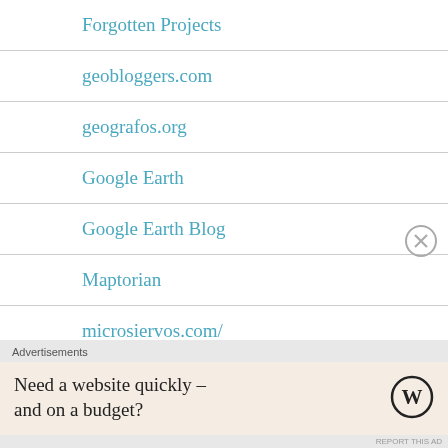Forgotten Projects
geobloggers.com
geografos.org
Google Earth
Google Earth Blog
Maptorian
microsiervos.com/
Nosolosig
ogleearth.com/
Advertisements
Need a website quickly – and on a budget?